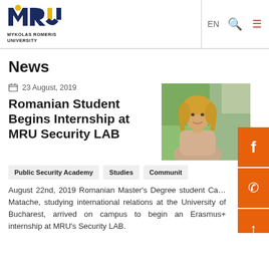MYKOLAS ROMERIS UNIVERSITY — EN
News
23 August, 2019
Romanian Student Begins Internship at MRU Security LAB
[Figure (photo): Portrait photo of a woman with blonde hair outdoors on a green campus background]
Public Security Academy
Studies
Community
August 22nd, 2019 Romanian Master's Degree student Ca… Matache, studying international relations at the University of Bucharest, arrived on campus to begin an Erasmus+ internship at MRU's Security LAB.